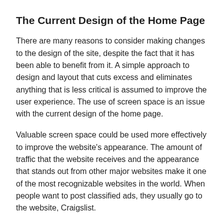The Current Design of the Home Page
There are many reasons to consider making changes to the design of the site, despite the fact that it has been able to benefit from it. A simple approach to design and layout that cuts excess and eliminates anything that is less critical is assumed to improve the user experience. The use of screen space is an issue with the current design of the home page.
Valuable screen space could be used more effectively to improve the website's appearance. The amount of traffic that the website receives and the appearance that stands out from other major websites make it one of the most recognizable websites in the world. When people want to post classified ads, they usually go to the website, Craigslist.